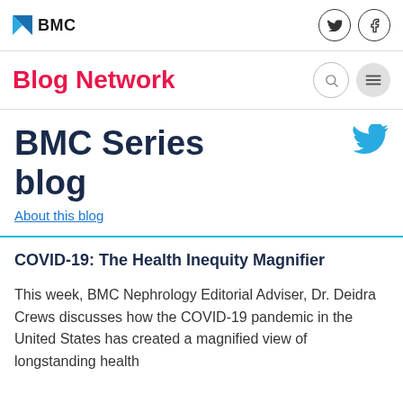BMC | Blog Network
BMC Series blog
About this blog
COVID-19: The Health Inequity Magnifier
This week, BMC Nephrology Editorial Adviser, Dr. Deidra Crews discusses how the COVID-19 pandemic in the United States has created a magnified view of longstanding health